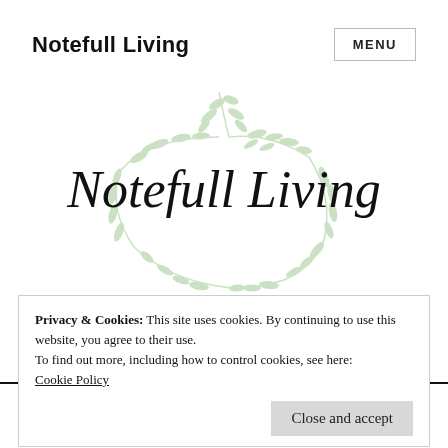Notefull Living  MENU
[Figure (logo): Notefull Living logo with cursive text and green botanical/floral wreath illustration]
Privacy & Cookies: This site uses cookies. By continuing to use this website, you agree to their use.
To find out more, including how to control cookies, see here:
Cookie Policy
Close and accept
Tag: #traveltrailer #camping #holidays